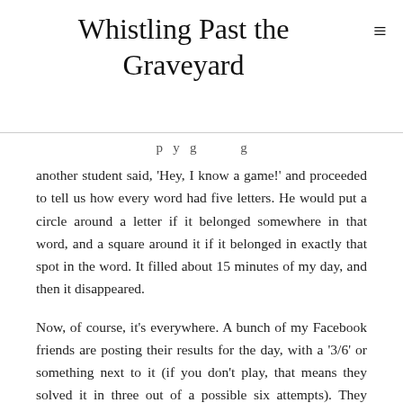Whistling Past the Graveyard
another student said, 'Hey, I know a game!' and proceeded to tell us how every word had five letters. He would put a circle around a letter if it belonged somewhere in that word, and a square around it if it belonged in exactly that spot in the word. It filled about 15 minutes of my day, and then it disappeared.
Now, of course, it's everywhere. A bunch of my Facebook friends are posting their results for the day, with a '3/6' or something next to it (if you don't play, that means they solved it in three out of a possible six attempts). They seem to enjoy it. It seems to make them happy.
I also see a growing Wordle backlash, and this is something I don't quite understand. Some of those I know